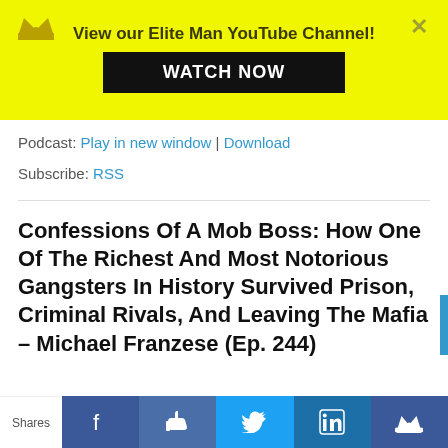View our Elite Man YouTube Channel! WATCH NOW
Podcast: Play in new window | Download
Subscribe: RSS
Confessions Of A Mob Boss: How One Of The Richest And Most Notorious Gangsters In History Survived Prison, Criminal Rivals, And Leaving The Mafia – Michael Franzese (Ep. 244)
[Figure (photo): Photo of Michael Franzese, a man with dark hair against a dark background]
Shares | Facebook | Like | Twitter | LinkedIn | Crown